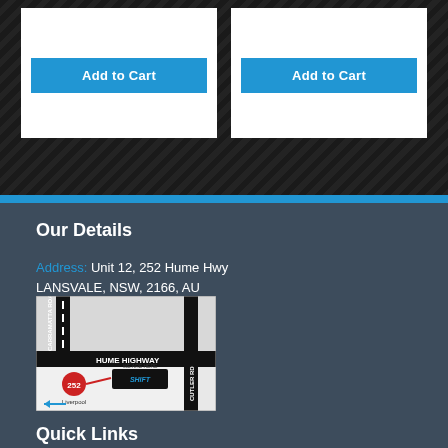[Figure (screenshot): Two white product cards each with an 'Add to Cart' blue button, on a dark diagonal-striped background]
[Figure (map): Street map showing location at 252 Hume Highway, Lansvale, with Carramattta Road, Cutler Road intersections and Shift company marker]
Address: Unit 12, 252 Hume Hwy LANSVALE, NSW, 2166, AU
Our Details
Quick Links